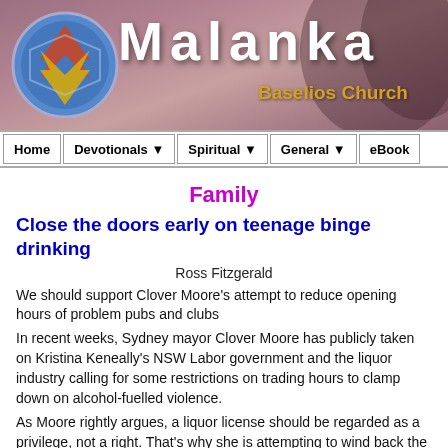[Figure (logo): Malanka Baselios Church website header banner with logo and title]
Home | Devotionals ▼ | Spiritual ▼ | General ▼ | eBook
Family
Close the doors early on teenage binge drinking
Ross Fitzgerald
We should support Clover Moore's attempt to reduce opening hours of problem pubs and clubs
In recent weeks, Sydney mayor Clover Moore has publicly taken on Kristina Keneally's NSW Labor government and the liquor industry calling for some restrictions on trading hours to clamp down on alcohol-fuelled violence.
As Moore rightly argues, a liquor license should be regarded as a privilege, not a right. That's why she is attempting to wind back the opening hours of badly run premises where patrons are not safe, under-age drinking is rife, and violence and anti-social behavior spills on to the streets.